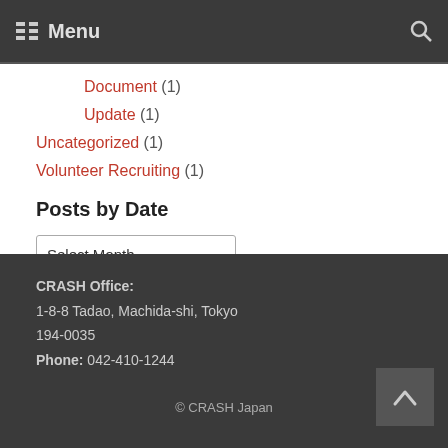Menu
Document (1)
Update (1)
Uncategorized (1)
Volunteer Recruiting (1)
Posts by Date
Select Month
CRASH Office:
1-8-8 Tadao, Machida-shi, Tokyo
194-0035
Phone: 042-410-1244

© CRASH Japan